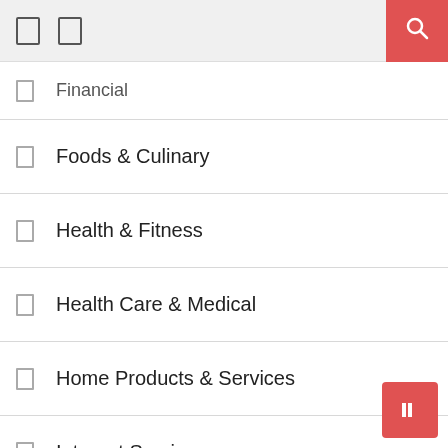Financial
Foods & Culinary
Health & Fitness
Health Care & Medical
Home Products & Services
Internet Services
jewelry
Personal Product & Services
Pets & Animals
Real Estate